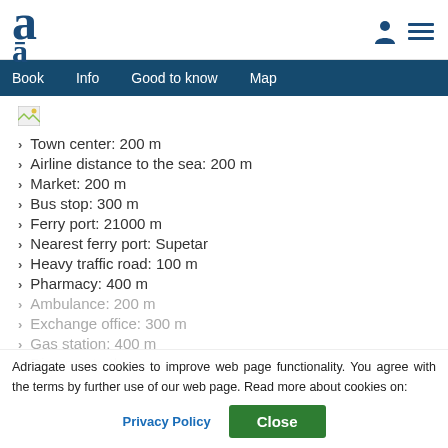[Figure (logo): Adriagate logo with stylized letter 'a']
Book | Info | Good to know | Map
[Figure (photo): Small broken/placeholder image icon]
Town center: 200 m
Airline distance to the sea: 200 m
Market: 200 m
Bus stop: 300 m
Ferry port: 21000 m
Nearest ferry port: Supetar
Heavy traffic road: 100 m
Pharmacy: 400 m
Ambulance: 200 m
Exchange office: 300 m
Gas station: 400 m
Distance to the nearest airport: 40 m
Adriagate uses cookies to improve web page functionality. You agree with the terms by further use of our web page. Read more about cookies on: